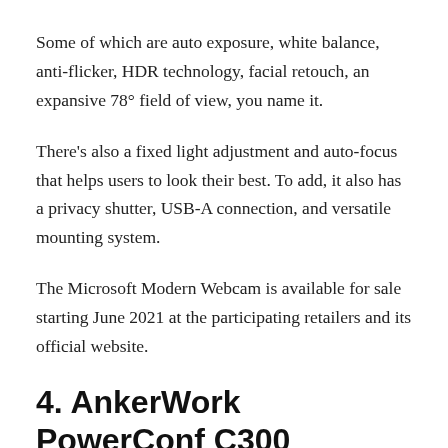Some of which are auto exposure, white balance, anti-flicker, HDR technology, facial retouch, an expansive 78° field of view, you name it.
There's also a fixed light adjustment and auto-focus that helps users to look their best. To add, it also has a privacy shutter, USB-A connection, and versatile mounting system.
The Microsoft Modern Webcam is available for sale starting June 2021 at the participating retailers and its official website.
4. AnkerWork PowerConf C300